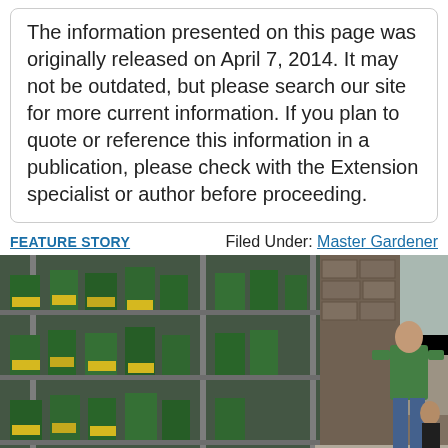The information presented on this page was originally released on April 7, 2014. It may not be outdated, but please search our site for more current information. If you plan to quote or reference this information in a publication, please check with the Extension specialist or author before proceeding.
FEATURE STORY
Filed Under: Master Gardener
[Figure (photo): Photo of a garden center/nursery storefront. On the left are metal shelving racks filled with potted plants and seed packets with yellow labels. On the right side of the image, two adults in green polo shirts and a young child are crouching/standing near plants on a sidewalk outside a stone-faced building.]